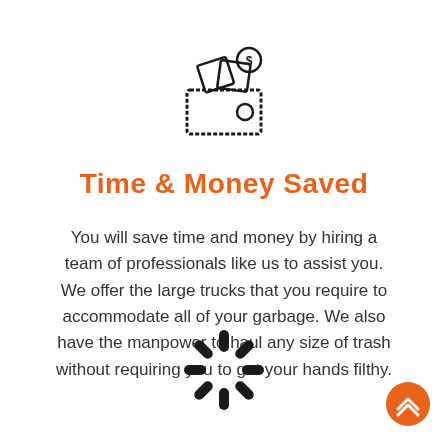[Figure (illustration): Line-art icon of a wallet with cash bills and a dollar coin coming out of it]
Time & Money Saved
You will save time and money by hiring a team of professionals like us to assist you. We offer the large trucks that you require to accommodate all of your garbage. We also have the manpower to haul any size of trash without requiring you to get your hands filthy.
[Figure (illustration): Spinning loader / loading spinner icon made of short rounded strokes]
[Figure (illustration): Orange circular button with two upward chevrons (scroll to top button)]